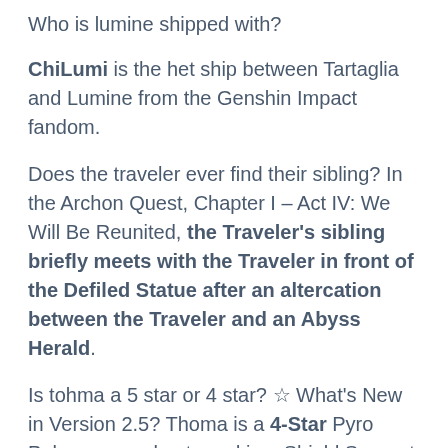Who is lumine shipped with?
ChiLumi is the het ship between Tartaglia and Lumine from the Genshin Impact fandom.
Does the traveler ever find their sibling? In the Archon Quest, Chapter I – Act IV: We Will Be Reunited, the Traveler's sibling briefly meets with the Traveler in front of the Defiled Statue after an altercation between the Traveler and an Abyss Herald.
Is tohma a 5 star or 4 star? ☆ What's New in Version 2.5? Thoma is a 4-Star Pyro Polearm-user best used in a Shield Support build or as a Sub-DPS in Genshin Impact. Learn Thoma's stats, EN and JP voice actors, strengths and weaknesses, ascension materials, and